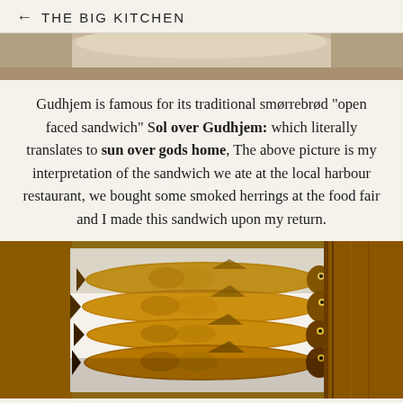← THE BIG KITCHEN
[Figure (photo): Top portion of a food photo showing a plate, cropped at the top of the page]
Gudhjem is famous for its traditional smørrebrød "open faced sandwich" Sol over Gudhjem: which literally translates to sun over gods home, The above picture is my interpretation of the sandwich we ate at the local harbour restaurant, we bought some smoked herrings at the food fair and I made this sandwich upon my return.
[Figure (photo): Photo of several whole smoked herrings laid on white paper on a wooden surface, showing golden-brown fish with visible scales and heads]